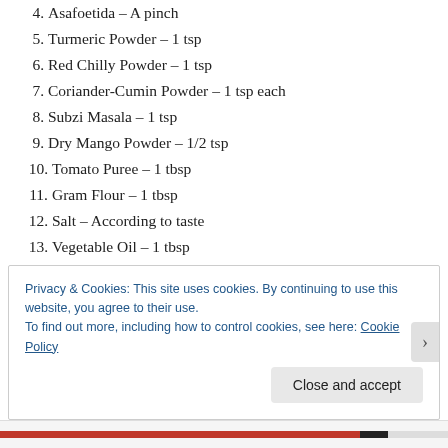4. Asafoetida – A pinch
5. Turmeric Powder – 1 tsp
6. Red Chilly Powder – 1 tsp
7. Coriander-Cumin Powder – 1 tsp each
8. Subzi Masala – 1 tsp
9. Dry Mango Powder – 1/2 tsp
10. Tomato Puree – 1 tbsp
11. Gram Flour – 1 tbsp
12. Salt – According to taste
13. Vegetable Oil – 1 tbsp
14. cumin – 1 tsp
15. Freshly Chopped Coriander – Optional
Privacy & Cookies: This site uses cookies. By continuing to use this website, you agree to their use.
To find out more, including how to control cookies, see here: Cookie Policy